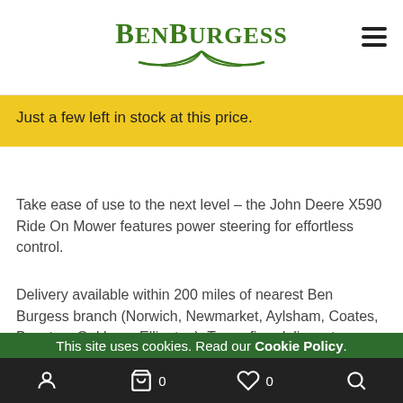BenBurgess
Just a few left in stock at this price.
Take ease of use to the next level – the John Deere X590 Ride On Mower features power steering for effortless control.
Delivery available within 200 miles of nearest Ben Burgess branch (Norwich, Newmarket, Aylsham, Coates, Beeston, Oakham, Ellington). To confirm delivery to your address please
This site uses cookies. Read our Cookie Policy.
OK, NO PROBLEM
0  0